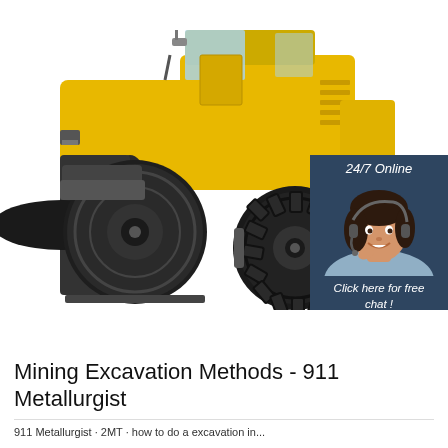[Figure (photo): Large yellow road roller / soil compactor construction machine on white background. In the lower-right corner there is a chat widget overlay with a dark blue background showing '24/7 Online' text, a photo of a smiling woman with a headset, text 'Click here for free chat!', and an orange button labeled 'QUOTATION'.]
Mining Excavation Methods - 911 Metallurgist
911 Metallurgist · 2MT · how to do a excavation in...